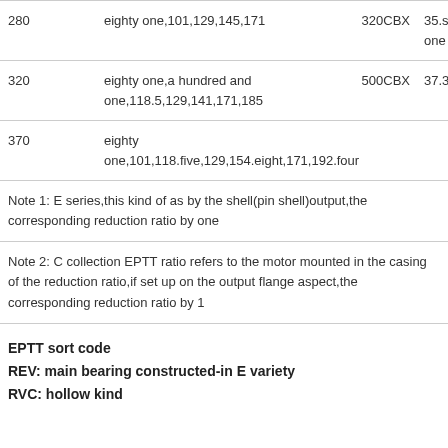|  | Ratios | Model | Max Ratio |
| --- | --- | --- | --- |
| 280 | eighty one,101,129,145,171 | 320CBX | 35.sixty one |
| 320 | eighty one,a hundred and one,118.5,129,141,171,185 | 500CBX | 37.34 |
| 370 | eighty one,101,118.five,129,154.eight,171,192.four |  |  |
Note 1: E series,this kind of as by the shell(pin shell)output,the corresponding reduction ratio by one
Note 2: C collection EPTT ratio refers to the motor mounted in the casing of the reduction ratio,if set up on the output flange aspect,the corresponding reduction ratio by 1
EPTT sort code
REV: main bearing constructed-in E variety
RVC: hollow kind